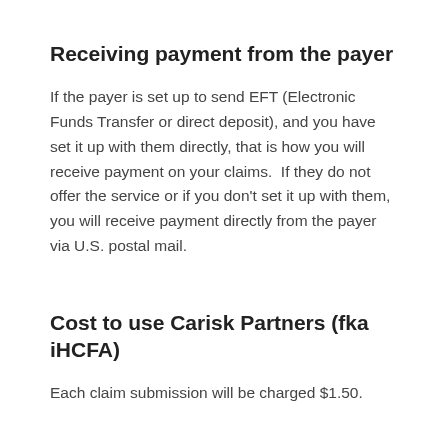Receiving payment from the payer
If the payer is set up to send EFT (Electronic Funds Transfer or direct deposit), and you have set it up with them directly, that is how you will receive payment on your claims.  If they do not offer the service or if you don't set it up with them, you will receive payment directly from the payer via U.S. postal mail.
Cost to use Carisk Partners (fka iHCFA)
Each claim submission will be charged $1.50.